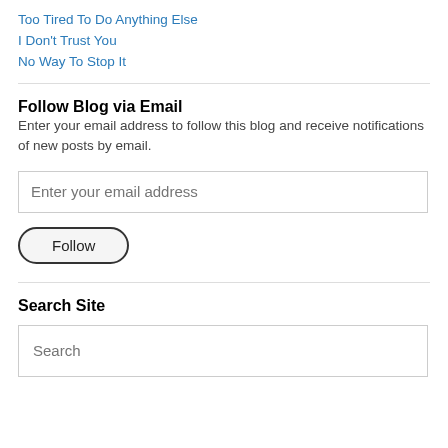Too Tired To Do Anything Else
I Don't Trust You
No Way To Stop It
Follow Blog via Email
Enter your email address to follow this blog and receive notifications of new posts by email.
Enter your email address
Follow
Search Site
Search